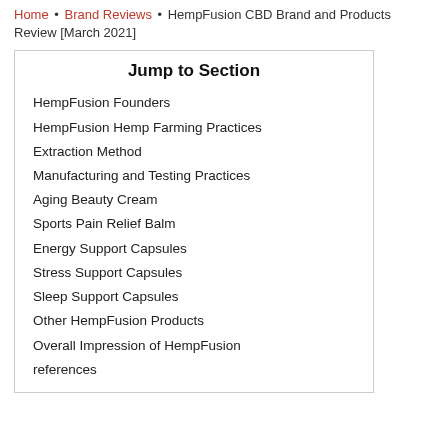Home • Brand Reviews • HempFusion CBD Brand and Products Review [March 2021]
Jump to Section
HempFusion Founders
HempFusion Hemp Farming Practices
Extraction Method
Manufacturing and Testing Practices
Aging Beauty Cream
Sports Pain Relief Balm
Energy Support Capsules
Stress Support Capsules
Sleep Support Capsules
Other HempFusion Products
Overall Impression of HempFusion
references